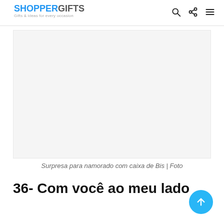SHOPPERGIFTS – Gifts & ideas for every occasion
[Figure (photo): Placeholder image area for a photo of 'Surpresa para namorado com caixa de Bis']
Surpresa para namorado com caixa de Bis | Foto
36- Com você ao meu lado